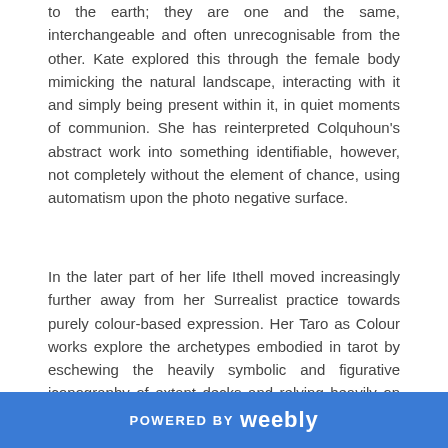to the earth; they are one and the same, interchangeable and often unrecognisable from the other. Kate explored this through the female body mimicking the natural landscape, interacting with it and simply being present within it, in quiet moments of communion. She has reinterpreted Colquhoun's abstract work into something identifiable, however, not completely without the element of chance, using automatism upon the photo negative surface.
In the later part of her life Ithell moved increasingly further away from her Surrealist practice towards purely colour-based expression. Her Taro as Colour works explore the archetypes embodied in tarot by eschewing the heavily symbolic and figurative iconography of extant decks and relying heavily on galactic bursts and swirls of pigment, informed by colour theory and the
POWERED BY weebly